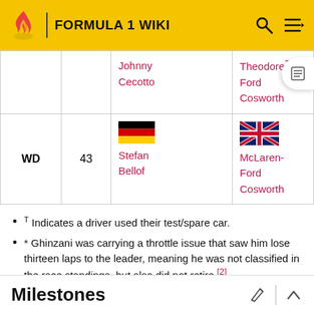FORMULA 1 WIKI
| Pos | No | Driver | Car |
| --- | --- | --- | --- |
|  |  | Johnny Cecotto | Theodore-Ford Cosworth |
| WD | 43 | Stefan Bellof | McLaren-Ford Cosworth |
T Indicates a driver used their test/spare car.
* Ghinzani was carrying a throttle issue that saw him lose thirteen laps to the leader, meaning he was not classified in the race standings, but also did not retire.[2]
Milestones